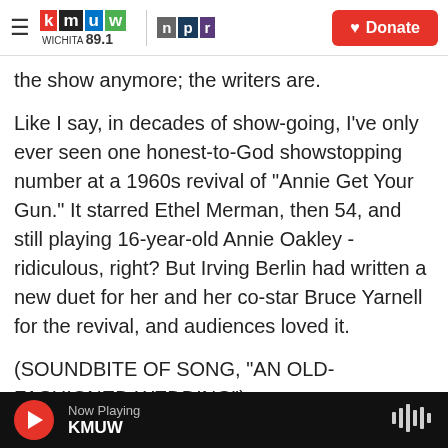KMUW WICHITA 89.1 | NPR | Donate
the show anymore; the writers are.
Like I say, in decades of show-going, I've only ever seen one honest-to-God showstopping number at a 1960s revival of "Annie Get Your Gun." It starred Ethel Merman, then 54, and still playing 16-year-old Annie Oakley - ridiculous, right? But Irving Berlin had written a new duet for her and her co-star Bruce Yarnell for the revival, and audiences loved it.
(SOUNDBITE OF SONG, "AN OLD-FASHIONED WEDDING")
MERMAN (As Annie Oakley singing) however
Now Playing KMUW